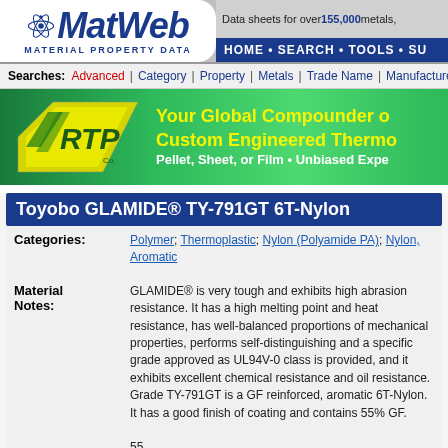MatWeb MATERIAL PROPERTY DATA — Data sheets for over 155,000 metals, — HOME • SEARCH • TOOLS • SU
Searches: Advanced | Category | Property | Metals | Trade Name | Manufacturer | Recer
[Figure (logo): RTP Co. advertisement banner: Your Global Compounder of Custom Engineered Thermo... Pellet, Sheet, or Film • Unbiased Expe...]
Toyobo GLAMIDE® TY-791GT 6T-Nylon
Categories: Polymer; Thermoplastic; Nylon (Polyamide PA); Nylon, Aromatic
Material Notes: GLAMIDE® is very tough and exhibits high abrasion resistance. It has a high melting point and heat resistance, has well-balanced proportions of mechanical properties, performs self-distinguishing and a specific grade approved as UL94V-0 class is provided, and it exhibits excellent chemical resistance and oil resistance. Grade TY-791GT is a GF reinforced, aromatic 6T-Nylon. It has a good finish of coating and contains 55% GF.
55